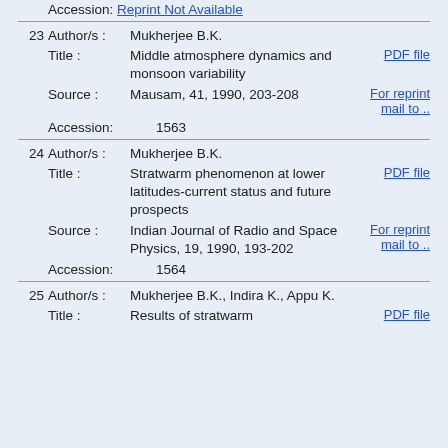Accession: Reprint Not Available
23 Author/s: Mukherjee B.K. | Title: Middle atmosphere dynamics and monsoon variability | PDF file | Source: Mausam, 41, 1990, 203-208 | For reprint mail to .. | Accession: 1563
24 Author/s: Mukherjee B.K. | Title: Stratwarm phenomenon at lower latitudes-current status and future prospects | PDF file | Source: Indian Journal of Radio and Space Physics, 19, 1990, 193-202 | For reprint mail to .. | Accession: 1564
25 Author/s: Mukherjee B.K., Indira K., Appu K. | Title: Results of stratwarm | PDF file